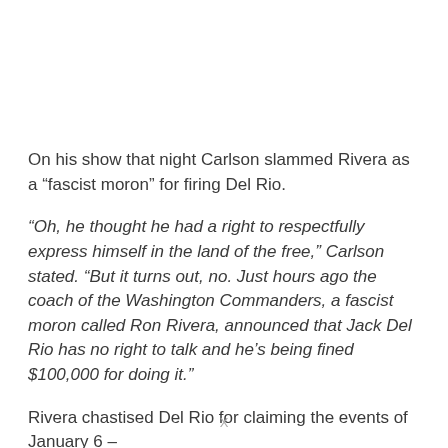On his show that night Carlson slammed Rivera as a “fascist moron” for firing Del Rio.
“Oh, he thought he had a right to respectfully express himself in the land of the free,” Carlson stated. “But it turns out, no. Just hours ago the coach of the Washington Commanders, a fascist moron called Ron Rivera, announced that Jack Del Rio has no right to talk and he’s being fined $100,000 for doing it.”
Rivera chastised Del Rio for claiming the events of January 6 –
X